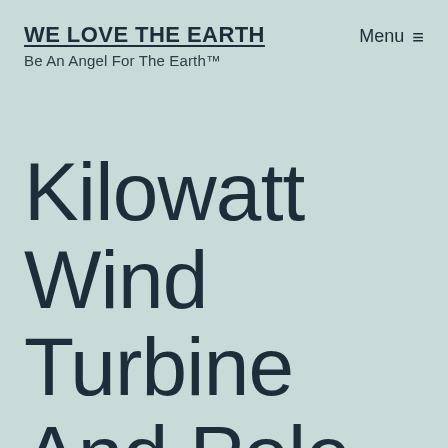WE LOVE THE EARTH
Be An Angel For The Earth™
Menu ≡
Kilowatt Wind Turbine And Pole For Under $150 –